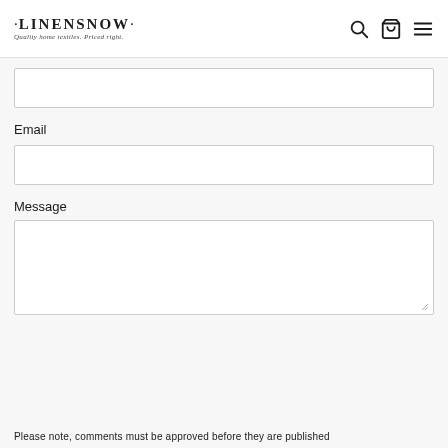LinensNow · Quality home textiles. Priced right.
Email
Message
Please note, comments must be approved before they are published